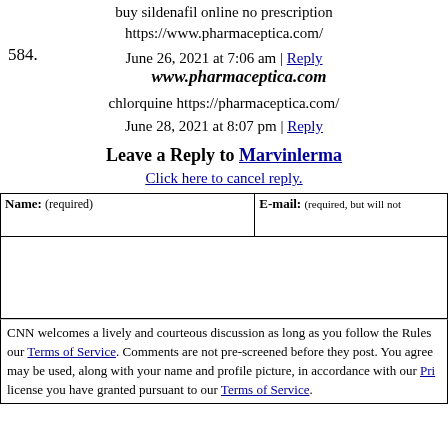buy sildenafil online no prescription https://www.pharmaceptica.com/
June 26, 2021 at 7:06 am | Reply
584. www.pharmaceptica.com
chlorquine https://pharmaceptica.com/
June 28, 2021 at 8:07 pm | Reply
Leave a Reply to Marvinlerma
Click here to cancel reply.
| Name: (required) | E-mail: (required, but will not) |
| --- | --- |
|  |  |
CNN welcomes a lively and courteous discussion as long as you follow the Rules our Terms of Service. Comments are not pre-screened before they post. You agree may be used, along with your name and profile picture, in accordance with our Pri license you have granted pursuant to our Terms of Service.